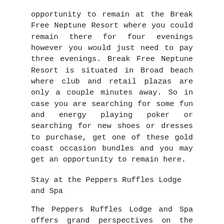opportunity to remain at the Break Free Neptune Resort where you could remain there for four evenings however you would just need to pay three evenings. Break Free Neptune Resort is situated in Broad beach where club and retail plazas are only a couple minutes away. So in case you are searching for some fun and energy playing poker or searching for new shoes or dresses to purchase, get one of these gold coast occasion bundles and you may get an opportunity to remain here.
Stay at the Peppers Ruffles Lodge and Spa
The Peppers Ruffles Lodge and Spa offers grand perspectives on the coast, an environment that is extremely serene, manors that are so extravagant and a few different conveniences and attractions that this delightful retreat could offer. This retreat is only eight minutes from the motorway and around five